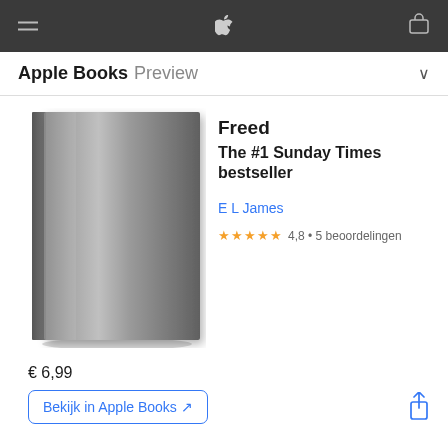Apple Books Preview
[Figure (illustration): Book cover — gray/dark gradient book cover with no text, shown at an angle with shadow]
Freed
The #1 Sunday Times bestseller
E L James
★★★★★ 4,8 • 5 beoordelingen
€ 6,99
Bekijk in Apple Books ↗